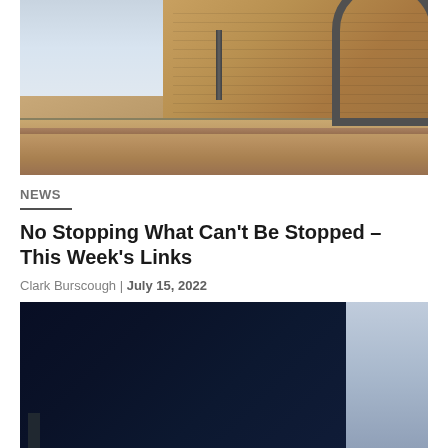[Figure (photo): Upward-angle photograph of a brick building facade showing cornice detail, a vertical pipe, and a curved arch on the right side, with cloudy sky visible in the upper left.]
NEWS
No Stopping What Can't Be Stopped – This Week's Links
Clark Burscough | July 15, 2022
[Figure (photo): Photograph appearing to show a dark navy/blue building exterior or surface with lighter sky in the upper right corner and a small figure visible at the bottom left.]